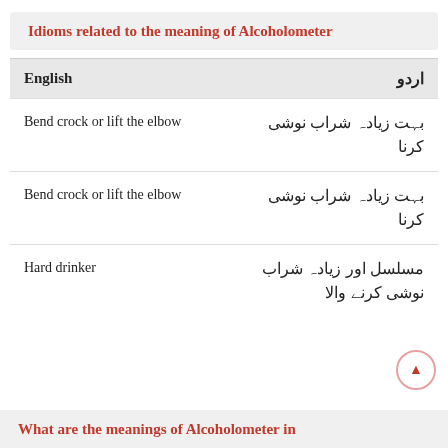Idioms related to the meaning of Alcoholometer
| English | اردو |
| --- | --- |
| Bend crock or lift the elbow | بہت زیادہ شراب نوشی کرنا |
| Bend crock or lift the elbow | بہت زیادہ شراب نوشی کرنا |
| Hard drinker | مسلسل اور زیادہ شراب نوشی کرنے والا |
What are the meanings of Alcoholometer in